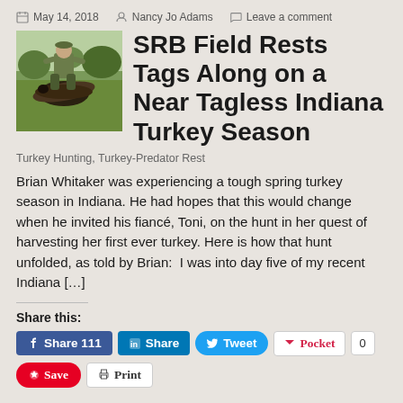May 14, 2018  Nancy Jo Adams  Leave a comment
[Figure (photo): Hunter kneeling behind a harvested wild turkey on grass, wearing camouflage clothing]
SRB Field Rests Tags Along on a Near Tagless Indiana Turkey Season
Turkey Hunting, Turkey-Predator Rest
Brian Whitaker was experiencing a tough spring turkey season in Indiana. He had hopes that this would change when he invited his fiancé, Toni, on the hunt in her quest of harvesting her first ever turkey. Here is how that hunt unfolded, as told by Brian:  I was into day five of my recent Indiana […]
Share this:
Share 111  Share  Tweet  Pocket  0  Save  Print